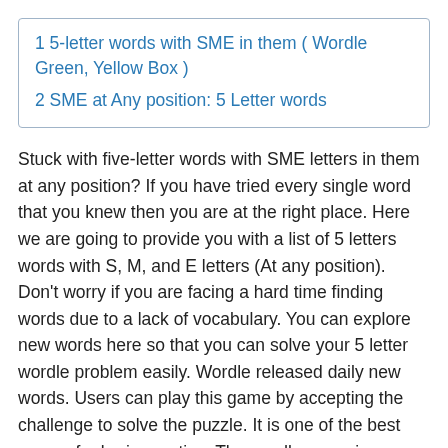1 5-letter words with SME in them ( Wordle Green, Yellow Box )
2 SME at Any position: 5 Letter words
Stuck with five-letter words with SME letters in them at any position? If you have tried every single word that you knew then you are at the right place. Here we are going to provide you with a list of 5 letters words with S, M, and E letters (At any position). Don't worry if you are facing a hard time finding words due to a lack of vocabulary. You can explore new words here so that you can solve your 5 letter wordle problem easily. Wordle released daily new words. Users can play this game by accepting the challenge to solve the puzzle. It is one of the best games for brain practice. The wordle game is